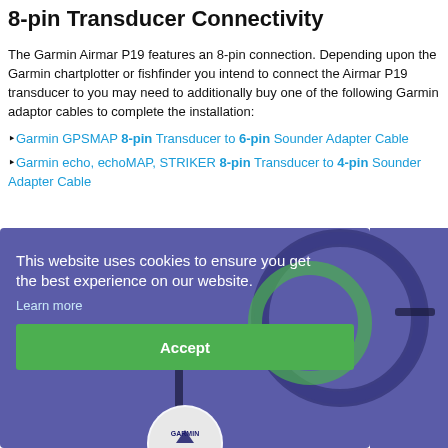8-pin Transducer Connectivity
The Garmin Airmar P19 features an 8-pin connection. Depending upon the Garmin chartplotter or fishfinder you intend to connect the Airmar P19 transducer to you may need to additionally buy one of the following Garmin adaptor cables to complete the installation:
Garmin GPSMAP 8-pin Transducer to 6-pin Sounder Adapter Cable
Garmin echo, echoMAP, STRIKER 8-pin Transducer to 4-pin Sounder Adapter Cable
[Figure (screenshot): Cookie consent overlay on a purple/blue background with cable product image, showing 'This website uses cookies to ensure you get the best experience on our website. Learn more' text and a green Accept button, with a partial Garmin logo badge at bottom.]